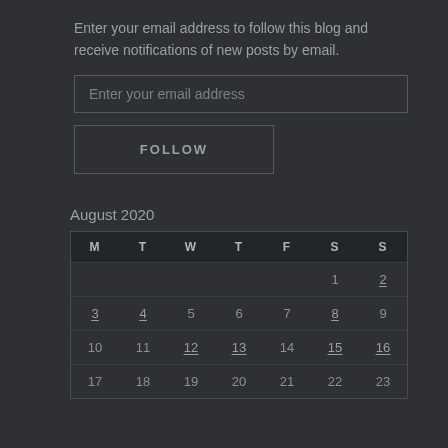Enter your email address to follow this blog and receive notifications of new posts by email.
Enter your email address
FOLLOW
August 2020
| M | T | W | T | F | S | S |
| --- | --- | --- | --- | --- | --- | --- |
|  |  |  |  |  | 1 | 2 |
| 3 | 4 | 5 | 6 | 7 | 8 | 9 |
| 10 | 11 | 12 | 13 | 14 | 15 | 16 |
| 17 | 18 | 19 | 20 | 21 | 22 | 23 |